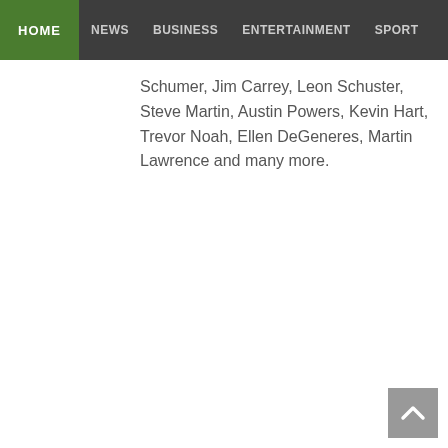HOME  NEWS  BUSINESS  ENTERTAINMENT  SPORT
stand-up comedians. The channel will also roll out the best of African comedy greats Seth Rogen, Eddie Murphy, Amy Schumer, Jim Carrey, Leon Schuster, Steve Martin, Austin Powers, Kevin Hart, Trevor Noah, Ellen DeGeneres, Martin Lawrence and many more.